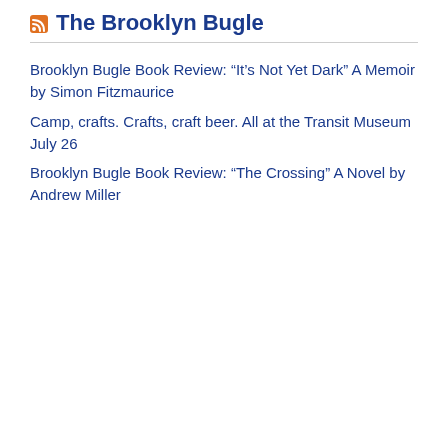The Brooklyn Bugle
Brooklyn Bugle Book Review: “It’s Not Yet Dark” A Memoir by Simon Fitzmaurice
Camp, crafts. Crafts, craft beer. All at the Transit Museum July 26
Brooklyn Bugle Book Review: “The Crossing” A Novel by Andrew Miller